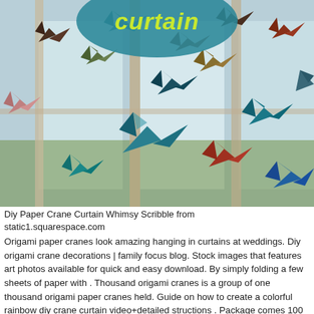[Figure (photo): Photo of many colorful origami paper cranes hanging as a curtain in front of a window, with a teal circular logo overlay at the top reading 'curtain'. The cranes are in various colors including teal, red, brown, gold, and blue.]
Diy Paper Crane Curtain Whimsy Scribble from static1.squarespace.com
Origami paper cranes look amazing hanging in curtains at weddings. Diy origami crane decorations | family focus blog. Stock images that features art photos available for quick and easy download. By simply folding a few sheets of paper with . Thousand origami cranes is a group of one thousand origami paper cranes held. Guide on how to create a colorful rainbow diy crane curtain video+detailed structions . Package comes 100 pieces handmade folded origami paper cranes in glitter